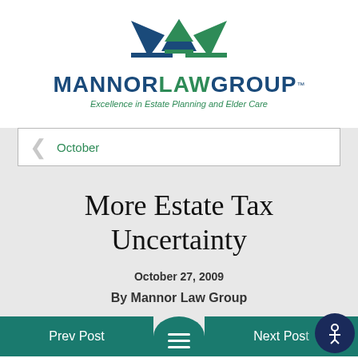[Figure (logo): Mannor Law Group logo with stylized triangular arch shapes in navy and green above the company name]
Excellence in Estate Planning and Elder Care
< October
More Estate Tax Uncertainty
October 27, 2009
By Mannor Law Group